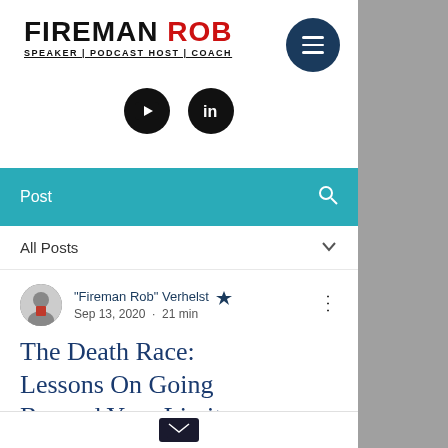[Figure (logo): Fireman Rob logo with text FIREMAN ROB (ROB in red) and subtitle SPEAKER | PODCAST HOST | COACH]
[Figure (infographic): Social media icons: YouTube and LinkedIn circular buttons]
[Figure (infographic): Navigation hamburger menu button (dark blue circle with three white lines)]
Post
All Posts
"Fireman Rob" Verhelst  Sep 13, 2020 · 21 min
The Death Race: Lessons On Going Beyond Your Limits